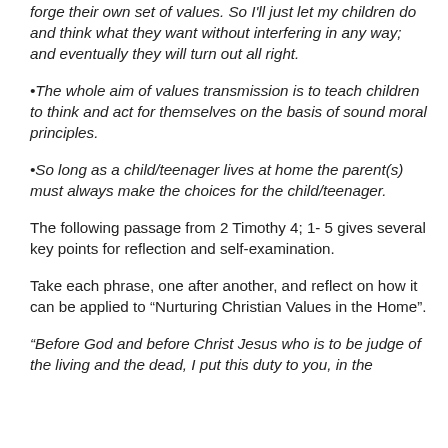forge their own set of values. So I'll just let my children do and think what they want without interfering in any way; and eventually they will turn out all right.
•The whole aim of values transmission is to teach children to think and act for themselves on the basis of sound moral principles.
•So long as a child/teenager lives at home the parent(s) must always make the choices for the child/teenager.
The following passage from 2 Timothy 4; 1- 5 gives several key points for reflection and self-examination.
Take each phrase, one after another, and reflect on how it can be applied to “Nurturing Christian Values in the Home”.
“Before God and before Christ Jesus who is to be judge of the living and the dead, I put this duty to you, in the